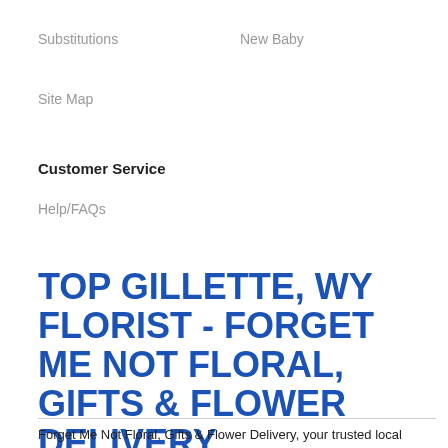Substitutions
New Baby
Site Map
Customer Service
Help/FAQs
TOP GILLETTE, WY FLORIST - FORGET ME NOT FLORAL, GIFTS & FLOWER DELIVERY
Forget Me Not Floral, Gifts & Flower Delivery, your trusted local florist in Gillette, offers professionally designed flower arrangements and